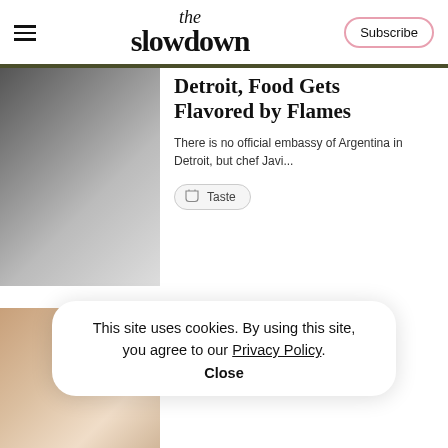the slowdown
Detroit, Food Gets Flavored by Flames
There is no official embassy of Argentina in Detroit, but chef Javi...
Taste
A Food Designer's Secrets to Making the Perfect Ice
This site uses cookies. By using this site, you agree to our Privacy Policy. Close
.soni at the tail end of New York's Summer...